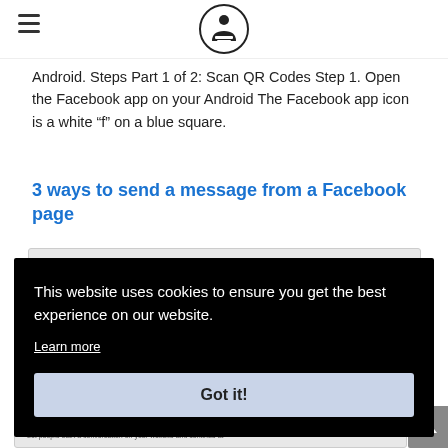[Logo icon - person reading]
Android. Steps Part 1 of 2: Scan QR Codes Step 1. Open the Facebook app on your Android The Facebook app icon is a white “f” on a blue square.
3 ways to send a message from a Facebook page
[Figure (screenshot): Screenshot showing: Advanced messaging features require an additional review step by the Messenger team for approval.]
This website uses cookies to ensure you get the best experience on our website.
Learn more
Got it!
[Figure (screenshot): Screenshot showing Customer Chat Plugin section with text: Let people start a conversation on your website and continue at...]